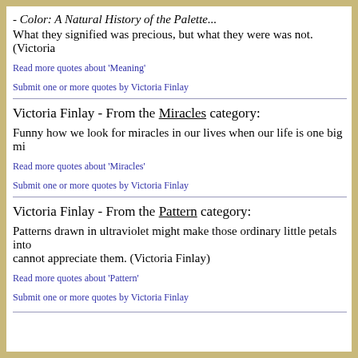- Color: A Natural History of the Palette...
What they signified was precious, but what they were was not. (Victoria
Read more quotes about 'Meaning'
Submit one or more quotes by Victoria Finlay
Victoria Finlay - From the Miracles category:
Funny how we look for miracles in our lives when our life is one big mi
Read more quotes about 'Miracles'
Submit one or more quotes by Victoria Finlay
Victoria Finlay - From the Pattern category:
Patterns drawn in ultraviolet might make those ordinary little petals into cannot appreciate them. (Victoria Finlay)
Read more quotes about 'Pattern'
Submit one or more quotes by Victoria Finlay